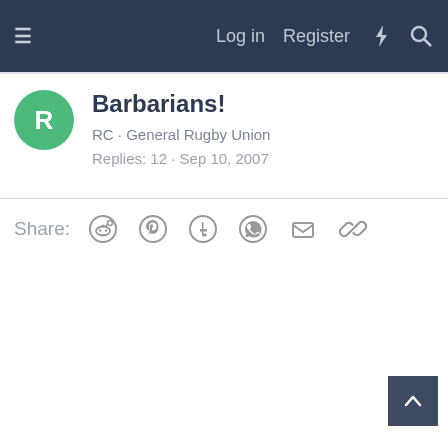≡   Log in   Register   ⚡   🔍
Barbarians!
RC · General Rugby Union
Replies: 12 · Sep 10, 2007
Share: